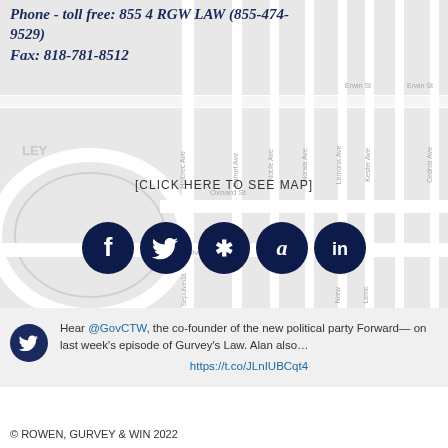Phone - toll free: 855 4 RGW LAW (855-474-9529)
Fax: 818-781-8512
[Figure (map): Street map background showing Burbank/Van Nuys area with streets including Oxnard St, Erwin St, Burnet Ave, Noble Ave, Lemona Ave, Kester Ave, Cedros Ave, Halbrec Ave, Norwa Ave, Sepulveda Blvd, Burbank Blvd]
[CLICK HERE TO SEE MAP]
[Figure (infographic): Row of 5 circular dark navy social media icons: Facebook, Twitter, Yelp, Avvo, LinkedIn]
Hear @GovCTW, the co-founder of the new political party Forward— on last week's episode of Gurvey's Law. Alan also… https://t.co/JLnIUBCqt4
© ROWEN, GURVEY & WIN 2022